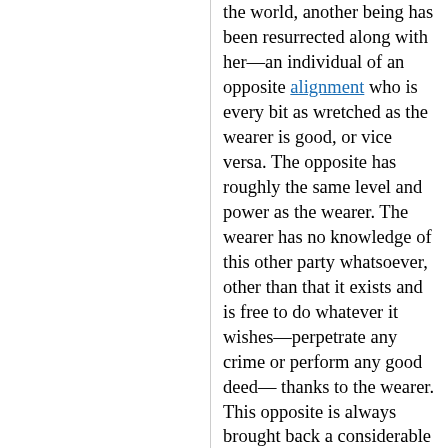the world, another being has been resurrected along with her—an individual of an opposite alignment who is every bit as wretched as the wearer is good, or vice versa. The opposite has roughly the same level and power as the wearer. The wearer has no knowledge of this other party whatsoever, other than that it exists and is free to do whatever it wishes—perpetrate any crime or perform any good deed— thanks to the wearer. This opposite is always brought back a considerable distance from the wearer. If the wearer dies again but the opposite doesn't, the wearer is resurrected again, along with